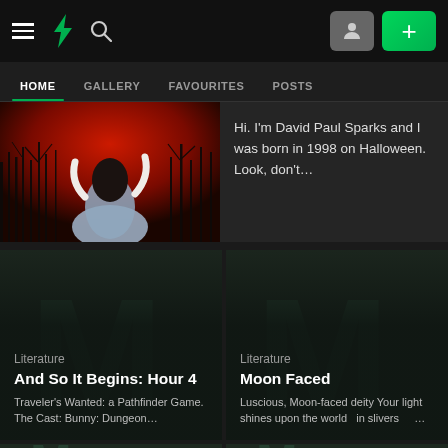DeviantArt navigation header with hamburger menu, logo, search icon, profile button, and plus button
HOME | GALLERY | FAVOURITES | POSTS
[Figure (photo): Dark gothic image of a figure in a blue-grey dress against a red sky with bare dark trees]
Hi. I'm David Paul Sparks and I was born in 1998 on Halloween. Look, don't...
[Figure (illustration): Dark teal background with large M letterform watermark]
Literature
And So It Begins: Hour 4
Traveler's Wanted: a Pathfinder Game. The Cast: Bunny: Dungeon...
[Figure (illustration): Dark teal background with large M letterform watermark]
Literature
Moon Faced
Luscious, Moon-faced deity Your light shines upon the world   in slivers    ...